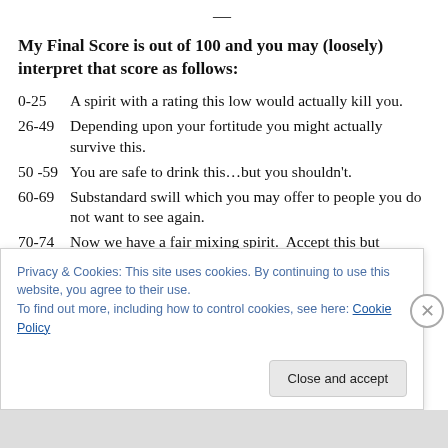—
My Final Score is out of 100 and you may (loosely) interpret that score as follows:
0-25    A spirit with a rating this low would actually kill you.
26-49   Depending upon your fortitude you might actually survive this.
50 -59  You are safe to drink this…but you shouldn't.
60-69   Substandard swill which you may offer to people you do not want to see again.
70-74   Now we have a fair mixing spirit.  Accept this but
Privacy & Cookies: This site uses cookies. By continuing to use this website, you agree to their use.
To find out more, including how to control cookies, see here: Cookie Policy
Close and accept